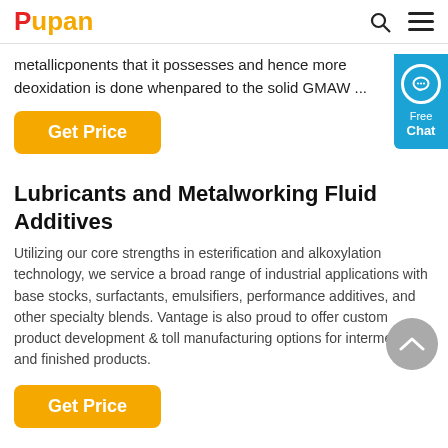Pupan
metallicponents that it possesses and hence more deoxidation is done whenpared to the solid GMAW ...
Get Price
Lubricants and Metalworking Fluid Additives
Utilizing our core strengths in esterification and alkoxylation technology, we service a broad range of industrial applications with base stocks, surfactants, emulsifiers, performance additives, and other specialty blends. Vantage is also proud to offer custom product development & toll manufacturing options for intermediate and finished products.
Get Price